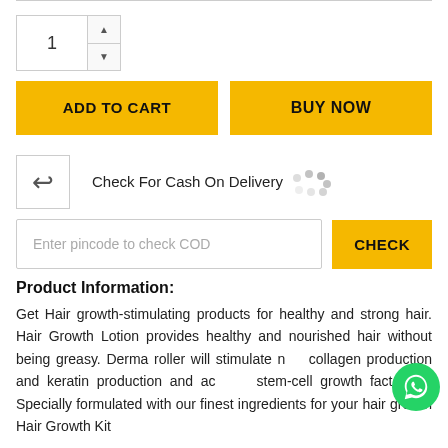[Figure (screenshot): E-commerce product page section showing quantity selector, Add to Cart and Buy Now buttons, return icon with Check For Cash On Delivery section with loading spinner, pincode input field with CHECK button, Product Information header, and descriptive product text about Hair Growth products.]
Check For Cash On Delivery
Enter pincode to check COD
Product Information:
Get Hair growth-stimulating products for healthy and strong hair. Hair Growth Lotion provides healthy and nourished hair without being greasy. Derma roller will stimulate new collagen production and keratin production and activate stem-cell growth factors. A Specially formulated with our finest ingredients for your hair growth Hair Growth Kit